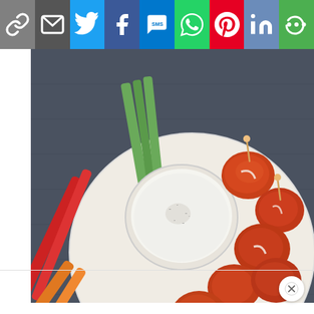[Figure (screenshot): Social sharing toolbar with icons: Copy Link (grey), Email (dark grey), Twitter (blue), Facebook (blue), SMS (blue), WhatsApp (green), Pinterest (red), LinkedIn (blue-grey), More (green)]
[Figure (photo): Food photo: a plate of buffalo cauliflower wings with ranch dipping sauce, surrounded by colorful vegetable sticks (celery, red, orange, yellow bell peppers) on a dark background]